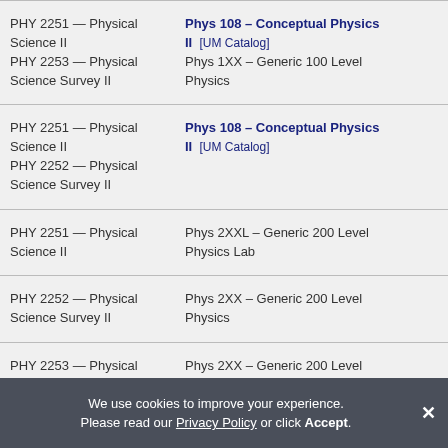| Source Course | UM Equivalent | Credits |
| --- | --- | --- |
| PHY 2251 — Physical Science II
PHY 2253 — Physical Science Survey II | Phys 108 – Conceptual Physics II [UM Catalog]
Phys 1XX – Generic 100 Level Physics | 3.00
1.00 |
| PHY 2251 — Physical Science II
PHY 2252 — Physical Science Survey II | Phys 108 – Conceptual Physics II [UM Catalog] | 3.00 |
| PHY 2251 — Physical Science II | Phys 2XXL – Generic 200 Level Physics Lab | 1.00 |
| PHY 2252 — Physical Science Survey II | Phys 2XX – Generic 200 Level Physics | 2.00 |
| PHY 2253 — Physical Science Survey II | Phys 2XX – Generic 200 Level Physics | 3.00 |
We use cookies to improve your experience. Please read our Privacy Policy or click Accept.